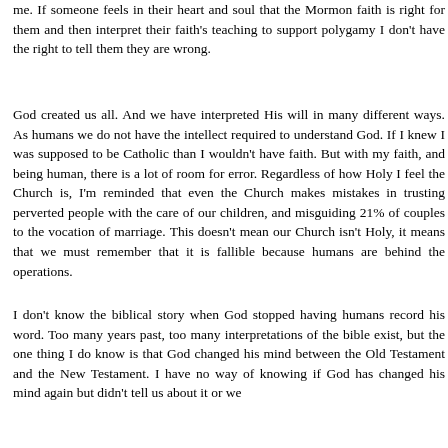me. If someone feels in their heart and soul that the Mormon faith is right for them and then interpret their faith's teaching to support polygamy I don't have the right to tell them they are wrong.
God created us all. And we have interpreted His will in many different ways. As humans we do not have the intellect required to understand God. If I knew I was supposed to be Catholic than I wouldn't have faith. But with my faith, and being human, there is a lot of room for error. Regardless of how Holy I feel the Church is, I'm reminded that even the Church makes mistakes in trusting perverted people with the care of our children, and misguiding 21% of couples to the vocation of marriage. This doesn't mean our Church isn't Holy, it means that we must remember that it is fallible because humans are behind the operations.
I don't know the biblical story when God stopped having humans record his word. Too many years past, too many interpretations of the bible exist, but the one thing I do know is that God changed his mind between the Old Testament and the New Testament. I have no way of knowing if God has changed his mind again but didn't tell us about it or we